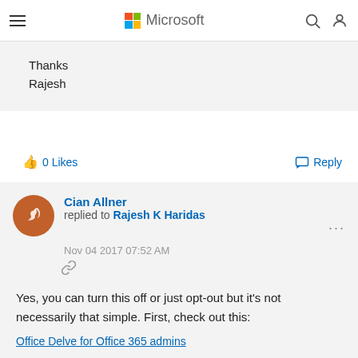Microsoft
Thanks
Rajesh
0 Likes
Reply
Cian Allner replied to Rajesh K Haridas
Nov 04 2017 07:52 AM
Yes, you can turn this off or just opt-out but it's not necessarily that simple.  First, check out this:
Office Delve for Office 365 admins